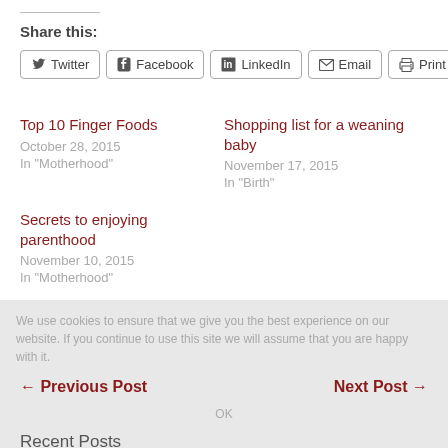Share this:
Twitter
Facebook
LinkedIn
Email
Print
Top 10 Finger Foods
October 28, 2015
In "Motherhood"
Shopping list for a weaning baby
November 17, 2015
In "Birth"
Secrets to enjoying parenthood
November 10, 2015
In "Motherhood"
We use cookies to ensure that we give you the best experience on our website. If you continue to use this site we will assume that you are happy with it.
← Previous Post
Next Post →
OK
Recent Posts